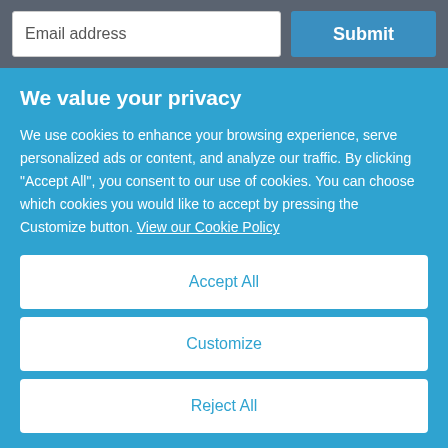Email address
Submit
We value your privacy
We use cookies to enhance your browsing experience, serve personalized ads or content, and analyze our traffic. By clicking "Accept All", you consent to our use of cookies. You can choose which cookies you would like to accept by pressing the Customize button. View our Cookie Policy
Accept All
Customize
Reject All